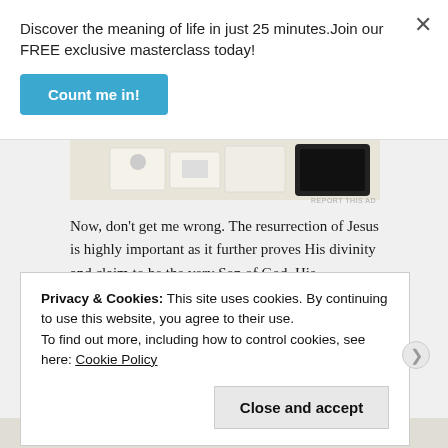Discover the meaning of life in just 25 minutes.Join our FREE exclusive masterclass today!
Count me in!
[Figure (photo): Partial view of a webpage ad showing cards/documents on a light background with a dark device on the right]
Now, don't get me wrong. The resurrection of Jesus is highly important as it further proves His divinity and claim to be the very Son of God. His resurrection also gives us the hope that we too will be resurrected during His second coming (I
Privacy & Cookies: This site uses cookies. By continuing to use this website, you agree to their use.
To find out more, including how to control cookies, see here: Cookie Policy
Close and accept